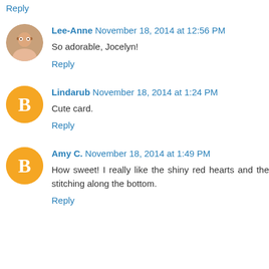Reply
Lee-Anne November 18, 2014 at 12:56 PM
So adorable, Jocelyn!
Reply
Lindarub November 18, 2014 at 1:24 PM
Cute card.
Reply
Amy C. November 18, 2014 at 1:49 PM
How sweet! I really like the shiny red hearts and the stitching along the bottom.
Reply